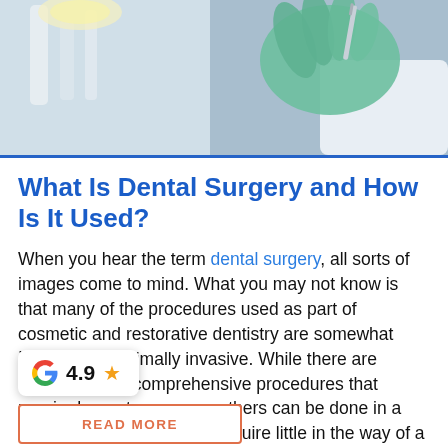[Figure (photo): Close-up photo of a dental professional's gloved hands (green gloves) holding dental instruments, likely in an operating or dental surgery setting. Dental light and white equipment visible in background.]
What Is Dental Surgery and How Is It Used?
When you hear the term dental surgery, all sorts of images come to mind. What you may not know is that many of the procedures used as part of cosmetic and restorative dentistry are somewhat simple and minimally invasive. While there are certainly more comprehensive procedures that require hours to manage, others can be done in a short amount of time and require little in the way of a healing period. Here are some things you should know, especially if ...
[Figure (other): Google rating widget showing G logo, rating of 4.9 and a star icon.]
READ MORE